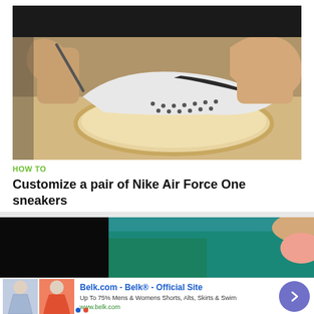[Figure (photo): Close-up photo of hands working on customizing a white Nike Air Force One sneaker, showing the sole and perforated upper being worked on with tools on a workbench.]
HOW TO
Customize a pair of Nike Air Force One sneakers
[Figure (photo): Partial video thumbnail showing a person in a teal/green top, with black bars on left and right sides suggesting a letterboxed video frame.]
Belk.com - Belk® - Official Site
Up To 75% Mens & Womens Shorts, Alts, Skirts & Swim
www.belk.com